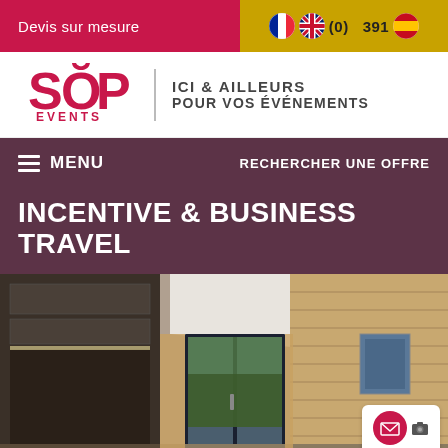Devis sur mesure
[Figure (logo): SOP Events logo with tagline ICI & AILLEURS POUR VOS ÉVÉNEMENTS]
MENU | RECHERCHER UNE OFFRE
INCENTIVE & BUSINESS TRAVEL
[Figure (photo): Interior room with wooden walls, large glass sliding doors, white ceiling and view of green hills outside]